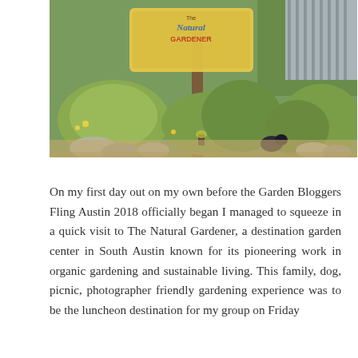[Figure (photo): Outdoor photo of The Natural Gardener garden center in South Austin. A colorful sign with 'The Natural Gardener' script text is visible among lush native plants, ornamental grasses, rocks, and a bird (turkey) in the foreground. A wooden building and metal fence visible in background.]
On my first day out on my own before the Garden Bloggers Fling Austin 2018 officially began I managed to squeeze in a quick visit to The Natural Gardener, a destination garden center in South Austin known for its pioneering work in organic gardening and sustainable living. This family, dog, picnic, photographer friendly gardening experience was to be the luncheon destination for my group on Friday